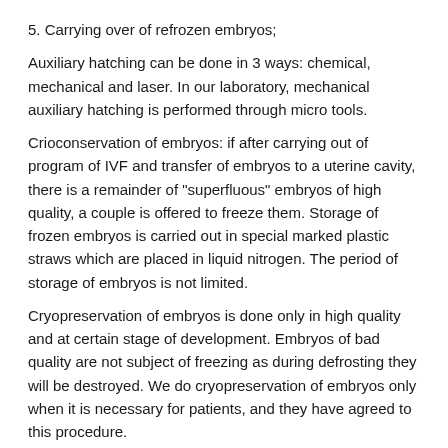5. Carrying over of refrozen embryos;
Auxiliary hatching can be done in 3 ways: chemical, mechanical and laser. In our laboratory, mechanical auxiliary hatching is performed through micro tools.
Crioconservation of embryos: if after carrying out of program of IVF and transfer of embryos to a uterine cavity, there is a remainder of "superfluous" embryos of high quality, a couple is offered to freeze them. Storage of frozen embryos is carried out in special marked plastic straws which are placed in liquid nitrogen. The period of storage of embryos is not limited.
Cryopreservation of embryos is done only in high quality and at certain stage of development. Embryos of bad quality are not subject of freezing as during defrosting they will be destroyed. We do cryopreservation of embryos only when it is necessary for patients, and they have agreed to this procedure.
Our Center also successfully performs programs of "Oocytes Donor Services" and "Surrogacy".